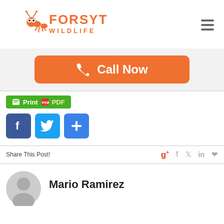[Figure (logo): Forsyth Wildlife logo with ant graphic and orange text]
[Figure (other): Hamburger menu icon (three horizontal lines)]
[Figure (other): Orange Call Now button with phone icon]
[Figure (other): Green Print PDF button]
[Figure (other): Social sharing icons: Facebook, Twitter, and plus button]
Share This Post!
Mario Ramirez
[Figure (other): Gray user avatar circle icon]